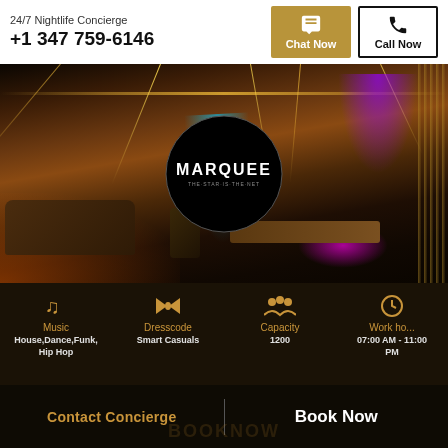24/7 Nightlife Concierge
+1 347 759-6146
Chat Now
Call Now
[Figure (photo): Interior photo of Marquee nightclub showing dance floor, VIP booths, colorful lighting including cyan, purple and orange lights, with the Marquee logo displayed in a black circle overlay in the center]
Music
House, Dance, Funk, Hip Hop
Dresscode
Smart Casuals
Capacity
1200
Work hours
07:00 AM - 11:00 PM
Contact Concierge
Book Now